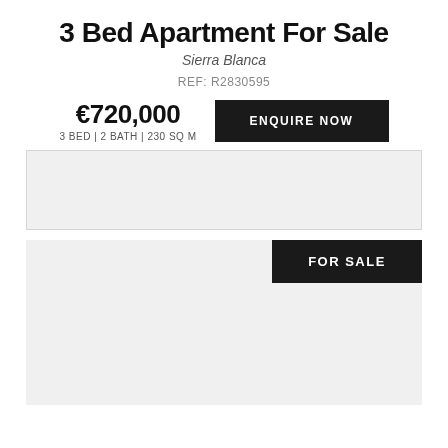3 Bed Apartment For Sale
Sierra Blanca
REF: R2830595
€720,000
3 BED | 2 BATH | 230 SQ M
[Figure (photo): Property image placeholder (gray box)]
[Figure (photo): Second property image placeholder (gray box) with FOR SALE label overlay]